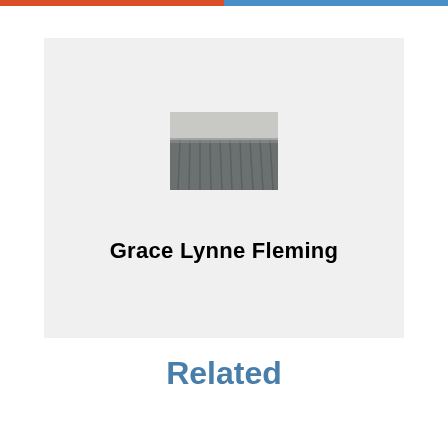[Figure (photo): Profile card with a small photo of curtains/blinds and the name Grace Lynne Fleming centered below on a light gray background]
Grace Lynne Fleming
Related